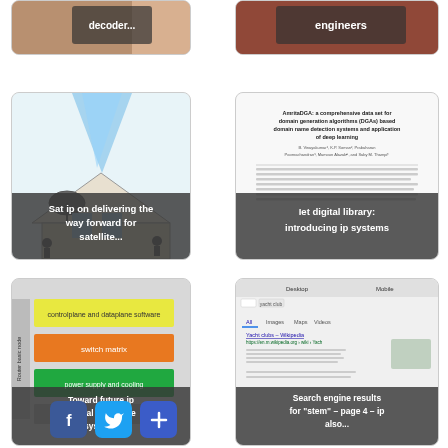[Figure (screenshot): Partial card showing 'decoder...' text on image background]
[Figure (screenshot): Partial card showing 'engineers' text on reddish image]
[Figure (illustration): Sat ip on delivering the way forward for satellite... - satellite dish diagram]
[Figure (screenshot): Iet digital library: introducing ip systems - academic paper screenshot]
[Figure (illustration): Toward future ip optical backbone systems - router diagram]
[Figure (screenshot): Search engine results for 'stem' - page 4 - ip also... - Google search results]
[Figure (logo): Facebook icon]
[Figure (logo): Twitter icon]
[Figure (logo): Share/Plus icon]